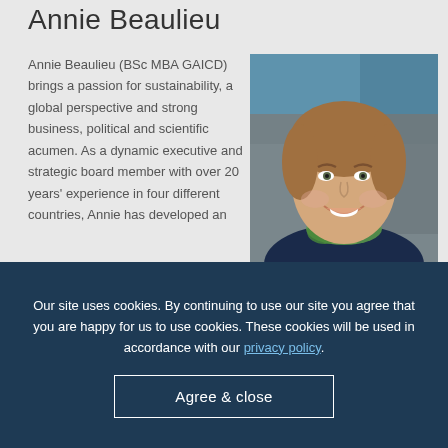Annie Beaulieu
Annie Beaulieu (BSc MBA GAICD) brings a passion for sustainability, a global perspective and strong business, political and scientific acumen. As a dynamic executive and strategic board member with over 20 years' experience in four different countries, Annie has developed an
[Figure (photo): Professional headshot of Annie Beaulieu, a woman smiling, wearing a navy blue jacket and green scarf, with a blurred background of buildings.]
Our site uses cookies. By continuing to use our site you agree that you are happy for us to use cookies. These cookies will be used in accordance with our privacy policy.
Agree & close